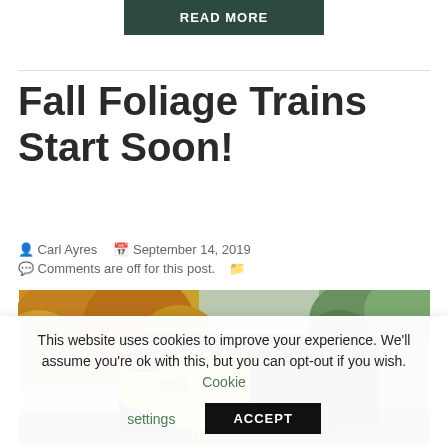READ MORE
Fall Foliage Trains Start Soon!
Carl Ayres   September 14, 2019   Comments are off for this post.
[Figure (photo): A yellow and black locomotive numbered 3051 surrounded by autumn foliage trees]
This website uses cookies to improve your experience. We'll assume you're ok with this, but you can opt-out if you wish. Cookie settings ACCEPT